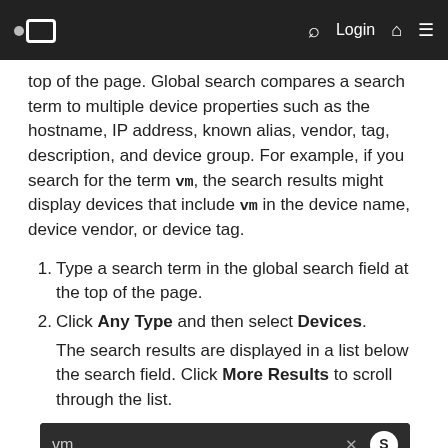Navigation bar with logo, search, Login, home, and menu icons
top of the page. Global search compares a search term to multiple device properties such as the hostname, IP address, known alias, vendor, tag, description, and device group. For example, if you search for the term vm, the search results might display devices that include vm in the device name, device vendor, or device tag.
1. Type a search term in the global search field at the top of the page.
2. Click Any Type and then select Devices.
The search results are displayed in a list below the search field. Click More Results to scroll through the list.
[Figure (screenshot): Screenshot of a search UI showing 'vm' entered in a search field with an X and S button, a 'Queries' section header, and a result row showing a blue search icon and 'Search Records for vm']